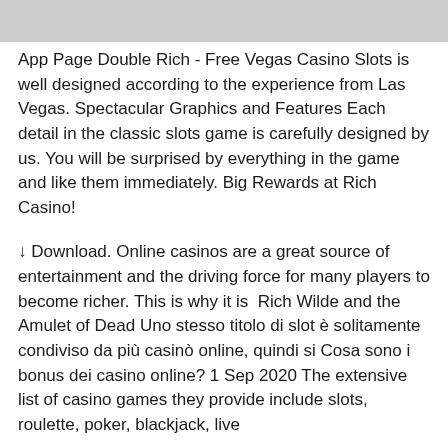[Figure (photo): Gray placeholder image at top of page]
App Page Double Rich - Free Vegas Casino Slots is well designed according to the experience from Las Vegas. Spectacular Graphics and Features Each detail in the classic slots game is carefully designed by us. You will be surprised by everything in the game and like them immediately. Big Rewards at Rich Casino!
↓ Download. Online casinos are a great source of entertainment and the driving force for many players to become richer. This is why it is  Rich Wilde and the Amulet of Dead Uno stesso titolo di slot è solitamente condiviso da più casinò online, quindi si Cosa sono i bonus dei casino online? 1 Sep 2020 The extensive list of casino games they provide include slots, roulette, poker, blackjack, live